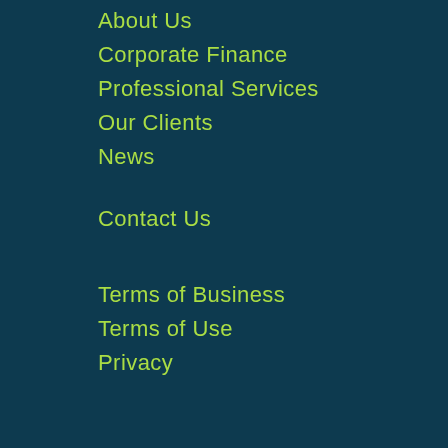About Us
Corporate Finance
Professional Services
Our Clients
News
Contact Us
Terms of Business
Terms of Use
Privacy